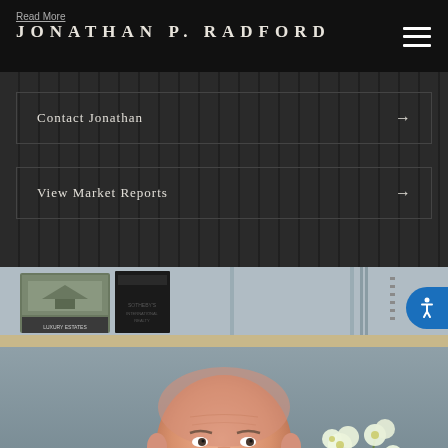Read More
JONATHAN P. RADFORD
Contact Jonathan →
View Market Reports →
[Figure (photo): Photo of Jonathan P. Radford seated at a desk, with bookshelves and real estate publications visible behind him, and a white orchid plant to his right.]